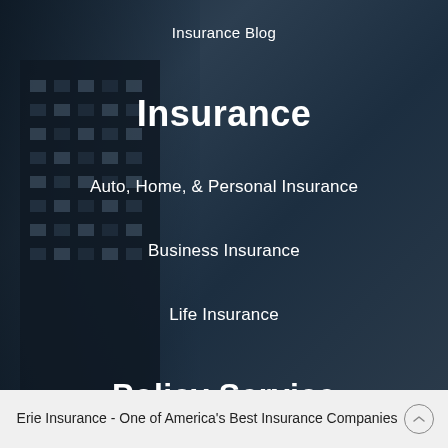Insurance Blog
Insurance
Auto, Home, & Personal Insurance
Business Insurance
Life Insurance
Policy Service
Erie Insurance - One of America's Best Insurance Companies